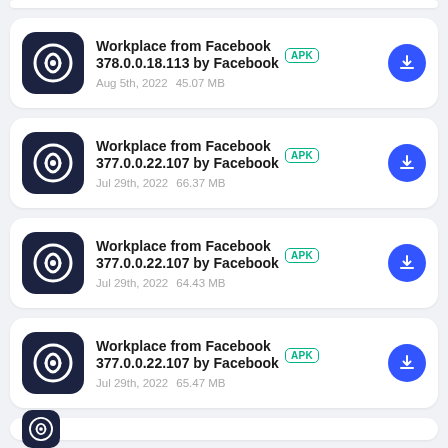Workplace from Facebook 378.0.0.18.113 by Facebook APK — Aug 5th, 2022  45.07 MB
Workplace from Facebook 377.0.0.22.107 by Facebook APK — Jul 29th, 2022  66.37 MB
Workplace from Facebook 377.0.0.22.107 by Facebook APK — Jul 29th, 2022  64.43 MB
Workplace from Facebook 377.0.0.22.107 by Facebook APK — Jul 29th, 2022  65.47 MB